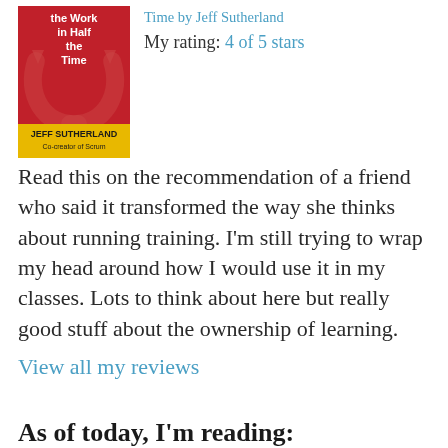[Figure (illustration): Book cover of 'Scrum: The Art of Doing Twice the Work in Half the Time' by Jeff Sutherland, Co-creator of Scrum. Red background with white text and an arrow graphic.]
Time by Jeff Sutherland
My rating: 4 of 5 stars
Read this on the recommendation of a friend who said it transformed the way she thinks about running training. I'm still trying to wrap my head around how I would use it in my classes. Lots to think about here but really good stuff about the ownership of learning.
View all my reviews
As of today, I'm reading:
I don't know what I'm reading. Wait, that's a